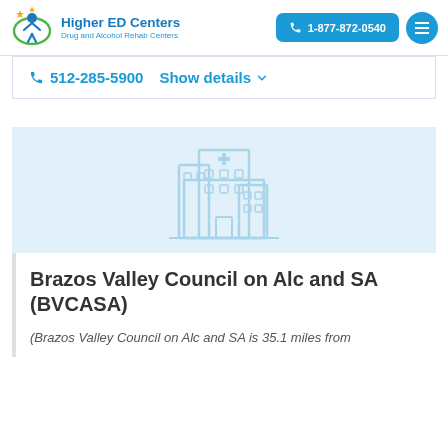[Figure (logo): Higher ED Centers logo with person icon and green circle]
Higher ED Centers
Drug and Alcohol Rehab Centers
1-877-872-0540
512-285-5900   Show details
[Figure (illustration): Faded light blue hospital/facility building icon]
Brazos Valley Council on Alc and SA (BVCASA)
(Brazos Valley Council on Alc and SA is 35.1 miles from